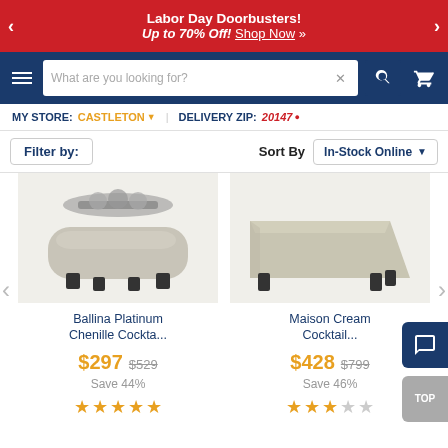Labor Day Doorbusters! Up to 70% Off! Shop Now »
[Figure (screenshot): Navigation bar with hamburger menu, search box, search button, and cart icon on dark blue background]
MY STORE: CASTLETON ▾   DELIVERY ZIP: 20147 •
Filter by:   Sort By  In-Stock Online
[Figure (photo): Ballina Platinum Chenille Cocktail ottoman product image]
[Figure (photo): Maison Cream Cocktail ottoman product image]
Ballina Platinum Chenille Cockta...
$297  $529
Save 44%
★★★★★
Maison Cream Cocktail...
$428  $799
Save 46%
★★★☆☆